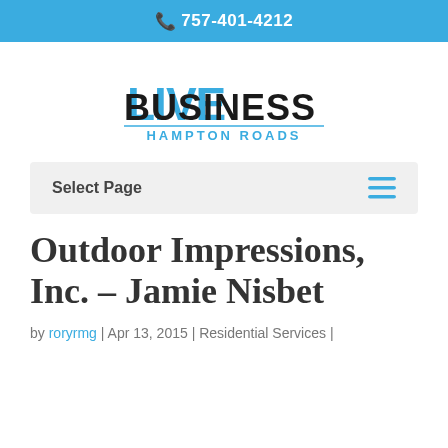757-401-4212
[Figure (logo): Business Live Hampton Roads logo — bold black BUSINESS text with blue LIVE overlay, HAMPTON ROADS subtitle in blue caps]
Select Page
Outdoor Impressions, Inc. – Jamie Nisbet
by roryrmg | Apr 13, 2015 | Residential Services |